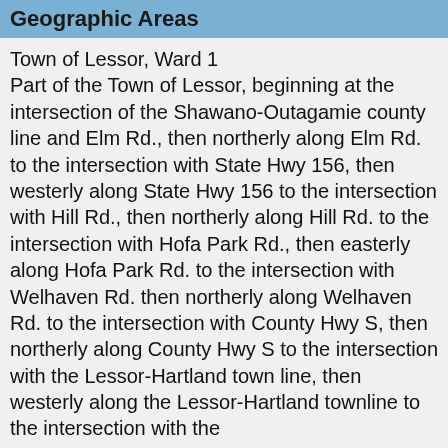Geographic Areas
Town of Lessor, Ward 1
Part of the Town of Lessor, beginning at the intersection of the Shawano-Outagamie county line and Elm Rd., then northerly along Elm Rd. to the intersection with State Hwy 156, then westerly along State Hwy 156 to the intersection with Hill Rd., then northerly along Hill Rd. to the intersection with Hofa Park Rd., then easterly along Hofa Park Rd. to the intersection with Welhaven Rd. then northerly along Welhaven Rd. to the intersection with County Hwy S, then northerly along County Hwy S to the intersection with the Lessor-Hartland town line, then westerly along the Lessor-Hartland townline to the intersection with the